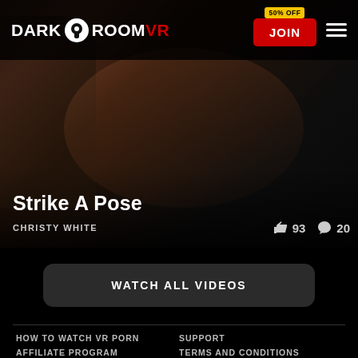DARK ROOM VR — JOIN (50% OFF)
[Figure (photo): Dark moody VR adult content thumbnail showing a crouching figure in high heels with a standing figure in jeans, dark background]
Strike A Pose
CHRISTY WHITE  👍 93  💬 20
WATCH ALL VIDEOS
HOW TO WATCH VR PORN   SUPPORT   AFFILIATE PROGRAM   TERMS AND CONDITIONS